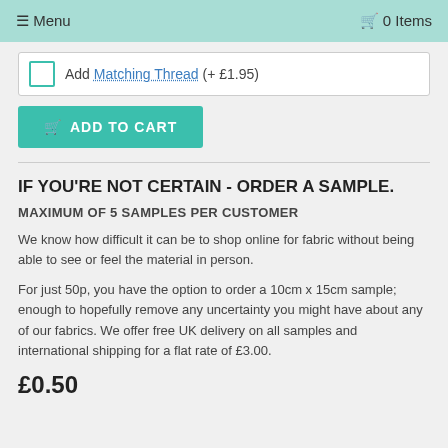≡ Menu   🛒 0 Items
Add Matching Thread (+ £1.95)
ADD TO CART
IF YOU'RE NOT CERTAIN - ORDER A SAMPLE.
MAXIMUM OF 5 SAMPLES PER CUSTOMER
We know how difficult it can be to shop online for fabric without being able to see or feel the material in person.
For just 50p, you have the option to order a 10cm x 15cm sample; enough to hopefully remove any uncertainty you might have about any of our fabrics. We offer free UK delivery on all samples and international shipping for a flat rate of £3.00.
£0.50